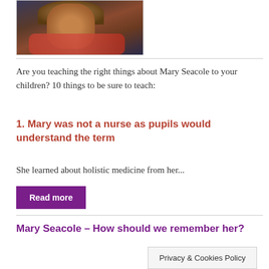[Figure (photo): Portrait painting of Mary Seacole, showing a woman with dark hair wearing a red scarf and blue clothing]
Are you teaching the right things about Mary Seacole to your children? 10 things to be sure to teach:
1. Mary was not a nurse as pupils would understand the term
She learned about holistic medicine from her...
Read more
Mary Seacole – How should we remember her?
Privacy & Cookies Policy